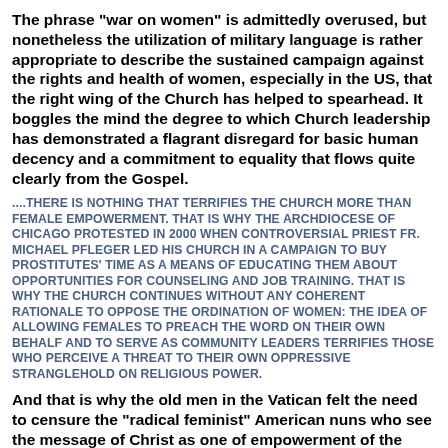The phrase "war on women" is admittedly overused, but nonetheless the utilization of military language is rather appropriate to describe the sustained campaign against the rights and health of women, especially in the US, that the right wing of the Church has helped to spearhead. It boggles the mind the degree to which Church leadership has demonstrated a flagrant disregard for basic human decency and a commitment to equality that flows quite clearly from the Gospel.
....THERE IS NOTHING THAT TERRIFIES THE CHURCH MORE THAN FEMALE EMPOWERMENT. THAT IS WHY THE ARCHDIOCESE OF CHICAGO PROTESTED IN 2000 WHEN CONTROVERSIAL PRIEST FR. MICHAEL PFLEGER LED HIS CHURCH IN A CAMPAIGN TO BUY PROSTITUTES' TIME AS A MEANS OF EDUCATING THEM ABOUT OPPORTUNITIES FOR COUNSELING AND JOB TRAINING. THAT IS WHY THE CHURCH CONTINUES WITHOUT ANY COHERENT RATIONALE TO OPPOSE THE ORDINATION OF WOMEN: THE IDEA OF ALLOWING FEMALES TO PREACH THE WORD ON THEIR OWN BEHALF AND TO SERVE AS COMMUNITY LEADERS TERRIFIES THOSE WHO PERCEIVE A THREAT TO THEIR OWN OPPRESSIVE STRANGLEHOLD ON RELIGIOUS POWER.
And that is why the old men in the Vatican felt the need to censure the "radical feminist" American nuns who see the message of Christ as one of empowerment of the disadvantaged